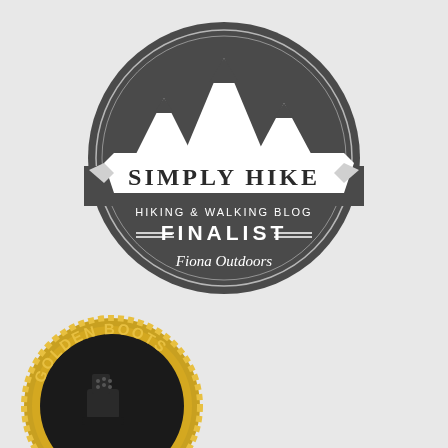[Figure (logo): Simply Hike Hiking & Walking Blog Finalist badge for Fiona Outdoors. Dark grey circle with mountain silhouette at top, a white banner reading SIMPLY HIKE, and text HIKING & WALKING BLOG, FINALIST, Fiona Outdoors below.]
[Figure (logo): Golden Boots award badge, partially visible at bottom left. Gold circular badge with rope border and text GOLDEN BOOTS with a boot image in the center.]